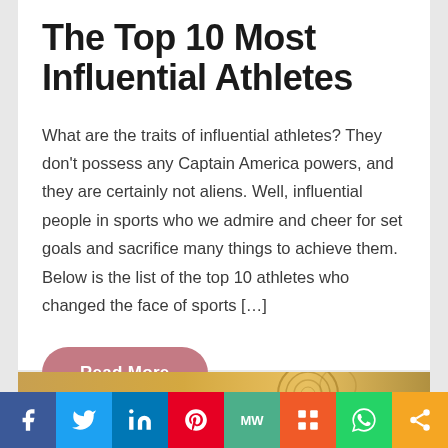The Top 10 Most Influential Athletes
What are the traits of influential athletes? They don't possess any Captain America powers, and they are certainly not aliens. Well, influential people in sports who we admire and cheer for set goals and sacrifice many things to achieve them. Below is the list of the top 10 athletes who changed the face of sports […]
Read More
[Figure (photo): Partial photo of a sports item (appears to be a football helmet or ball with decorative patterns), shown at bottom of page]
[Figure (infographic): Social media sharing bar with icons for Facebook, Twitter, LinkedIn, Pinterest, MeWe, Mix, WhatsApp, and Share]